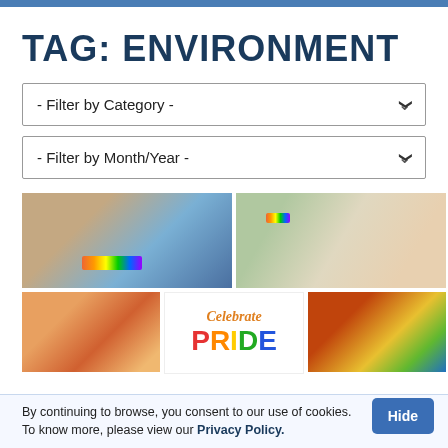TAG: ENVIRONMENT
- Filter by Category -
- Filter by Month/Year -
[Figure (photo): Person wearing denim shorts with rainbow face paint on their hand]
[Figure (photo): Raised arms at a pride event with rainbow wristbands, blurred crowd in background]
[Figure (photo): Hands with tattoos in front of a rainbow flag]
[Figure (illustration): Celebrate Pride text in rainbow colors on white background]
[Figure (photo): Rainbow flag close-up]
By continuing to browse, you consent to our use of cookies. To know more, please view our Privacy Policy.